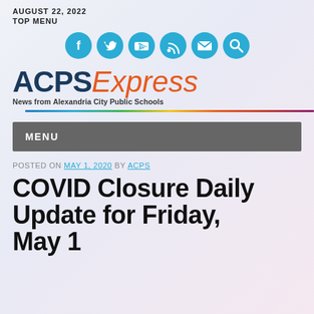AUGUST 22, 2022
TOP MENU
[Figure (illustration): Six circular teal social media icons: Facebook, Twitter, YouTube, RSS, Email, Search]
[Figure (logo): ACPS Express logo — News from Alexandria City Public Schools — with rainbow horizontal rule]
MENU
POSTED ON MAY 1, 2020 BY ACPS
COVID Closure Daily Update for Friday, May 1